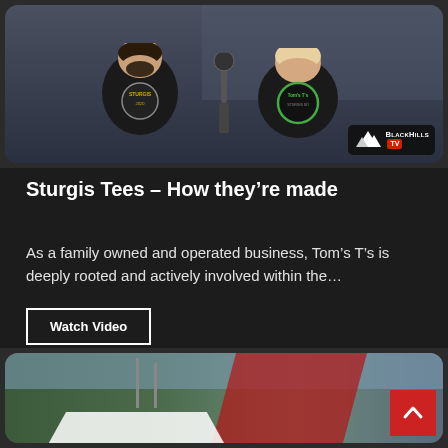[Figure (photo): Two men standing side by side wearing black t-shirts with Sturgis designs; one shirt has a Tom's T's logo. A microphone is visible between them. BlackHills TV logo appears in the bottom right corner of the photo.]
Sturgis Tees – How they're made
As a family owned and operated business, Tom's T's is deeply rooted and actively involved within the…
Watch Video
[Figure (photo): Outdoor event scene with flags, a red banner/stripe, white tent canopies, and what appears to be a dealership or vendor booth with trees in background.]